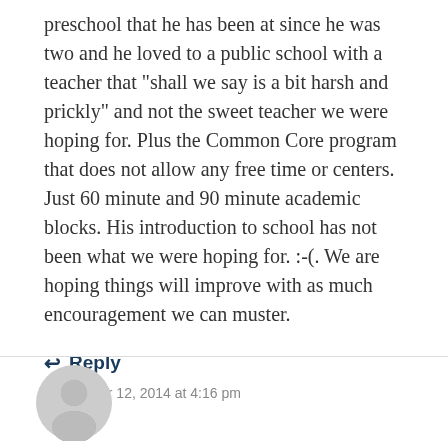preschool that he has been at since he was two and he loved to a public school with a teacher that "shall we say is a bit harsh and prickly" and not the sweet teacher we were hoping for. Plus the Common Core program that does not allow any free time or centers. Just 60 minute and 90 minute academic blocks. His introduction to school has not been what we were hoping for. :-(. We are hoping things will improve with as much encouragement we can muster.
↩ Reply
September 12, 2014 at 4:16 pm
[Figure (illustration): Grey circular avatar placeholder icon with a person silhouette]